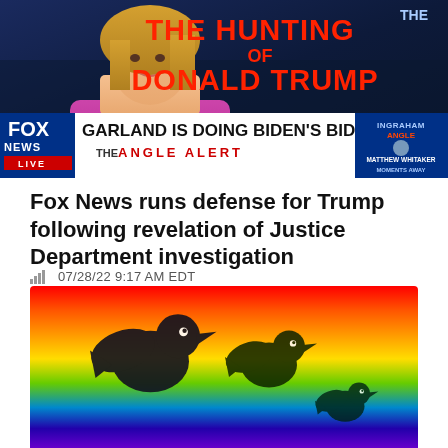[Figure (screenshot): Fox News TV screenshot showing anchor in pink dress, 'The Hunting of Donald Trump' text overlay in red, Fox News lower-third banner reading 'GARLAND IS DOING BIDEN'S BIDDING' with 'THE ANGLE ALERT' below, and 'INGRAHAM ANGLE / MATTHEW WHITAKER MOMENTS AWAY' on the right side.]
Fox News runs defense for Trump following revelation of Justice Department investigation
07/28/22 9:17 AM EDT
[Figure (photo): Twitter bird logos silhouetted in dark colors against a rainbow-colored background, showing multiple Twitter bird icons of varying sizes layered over a gradient rainbow pattern.]